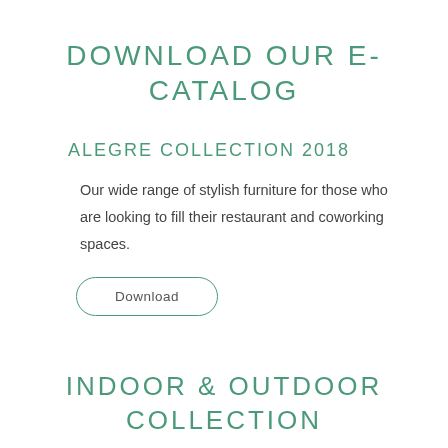DOWNLOAD OUR E-CATALOG
ALEGRE COLLECTION 2018
Our wide range of stylish furniture for those who are looking to fill their restaurant and coworking spaces.
Download
INDOOR & OUTDOOR COLLECTION